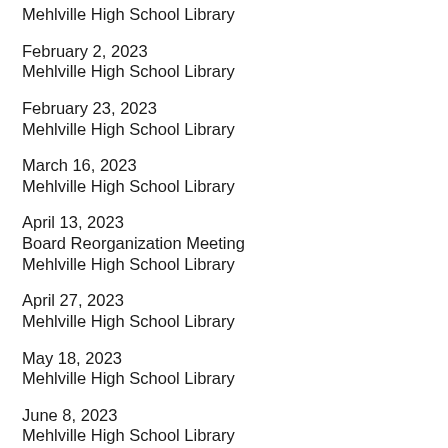Mehlville High School Library
February 2, 2023
Mehlville High School Library
February 23, 2023
Mehlville High School Library
March 16, 2023
Mehlville High School Library
April 13, 2023
Board Reorganization Meeting
Mehlville High School Library
April 27, 2023
Mehlville High School Library
May 18, 2023
Mehlville High School Library
June 8, 2023
Mehlville High School Library
June 29, 2023